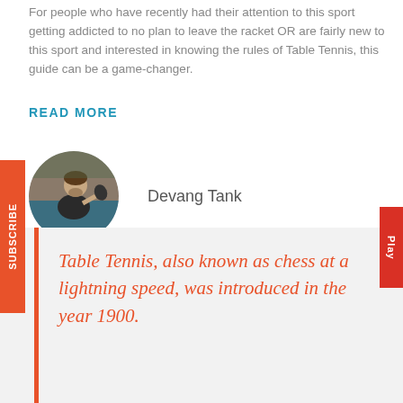For people who have recently had their attention to this sport getting addicted to no plan to leave the racket OR are fairly new to this sport and interested in knowing the rules of Table Tennis, this guide can be a game-changer.
READ MORE
[Figure (photo): Circular profile photo of Devang Tank, a man playing table tennis, wearing a dark shirt]
Devang Tank
Table Tennis, also known as chess at a lightning speed, was introduced in the year 1900.